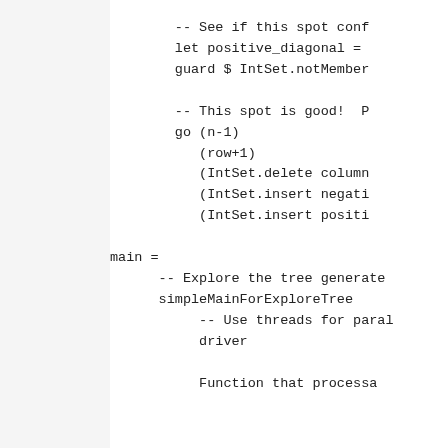-- See if this spot conf
        let positive_diagonal =
        guard $ IntSet.notMember

        -- This spot is good!  P
        go (n-1)
           (row+1)
           (IntSet.delete column
           (IntSet.insert negati
           (IntSet.insert positi

main =
      -- Explore the tree generate
      simpleMainForExploreTree
           -- Use threads for paral
           driver

           Function that processa